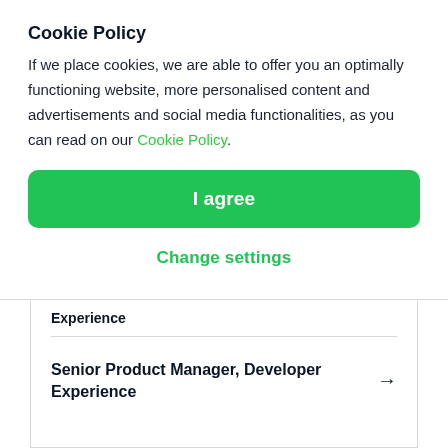Cookie Policy
If we place cookies, we are able to offer you an optimally functioning website, more personalised content and advertisements and social media functionalities, as you can read on our Cookie Policy.
[Figure (other): Green 'I agree' button]
Change settings
Experience
Senior Product Manager, Developer Experience →